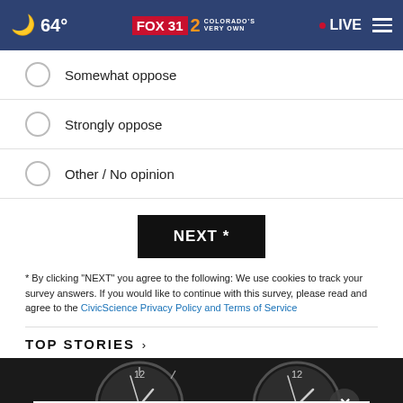64° FOX 31 2 COLORADO'S VERY OWN • LIVE
Somewhat oppose
Strongly oppose
Other / No opinion
NEXT *
* By clicking "NEXT" you agree to the following: We use cookies to track your survey answers. If you would like to continue with this survey, please read and agree to the CivicScience Privacy Policy and Terms of Service
TOP STORIES ›
[Figure (screenshot): Dark background image showing two analog clocks with a close button (X) overlay and an advertisement banner at the bottom reading 'Up To $75 Off on Goodyear Tires at Virginia Tire & Auto']